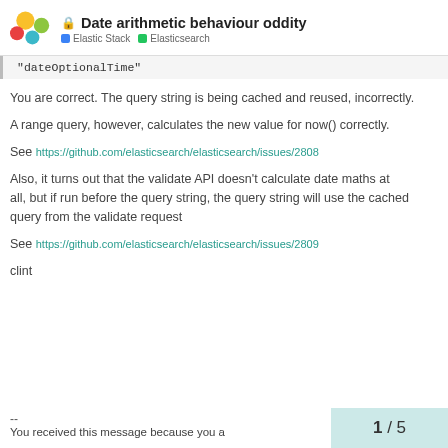Date arithmetic behaviour oddity — Elastic Stack / Elasticsearch
"dateOptionalTime"
You are correct. The query string is being cached and reused, incorrectly.
A range query, however, calculates the new value for now() correctly.
See https://github.com/elasticsearch/elasticsearch/issues/2808
Also, it turns out that the validate API doesn't calculate date maths at all, but if run before the query string, the query string will use the cached query from the validate request
See https://github.com/elasticsearch/elasticsearch/issues/2809
clint
--
You received this message because you a
1 / 5